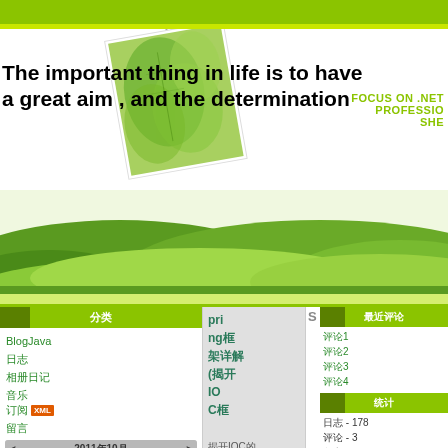The important thing in life is to have a great aim , and the determination
FOCUS ON .NET
PROFESSIO
SHE
[Figure (photo): Photo of green leaves on a note paper with a paper clip, tilted/rotated]
[Figure (illustration): Green rolling hills landscape background]
分类
BlogJava
日志
相册日记
音乐
订阅 XML
留言
| 日 | 一 | 二 | 三 | 四 | 五 | 六 |
| --- | --- | --- | --- | --- | --- | --- |
| 25 | 26 | 27 | 28 | 29 | 30 | 1 |
| 2 | 3 | 4 | 5 | 6 | 7 | 8 |
2011年10月
pri
ng框
架详解
(揭开
IOC框
架
揭开IOC的
面
Rod
最近评论
评论1
评论2
评论3
评论4
统计
日志 - 178
评论 - 3
留言 - 5
访问 - 0
IT博客联盟